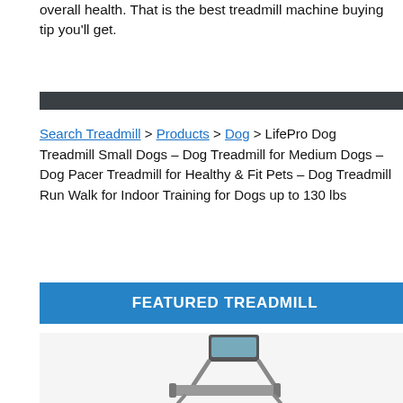overall health. That is the best treadmill machine buying tip you'll get.
[Figure (other): Dark horizontal divider bar]
Search Treadmill > Products > Dog > LifePro Dog Treadmill Small Dogs – Dog Treadmill for Medium Dogs – Dog Pacer Treadmill for Healthy & Fit Pets – Dog Treadmill Run Walk for Indoor Training for Dogs up to 130 lbs
FEATURED TREADMILL
[Figure (photo): Partial image of a treadmill product on a light gray background]